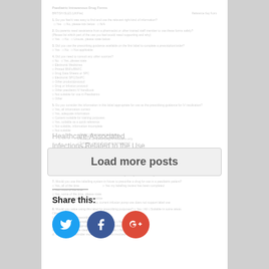[Faded form content - Healthcare survey/questionnaire form with multiple questions]
Healthcare-Associated Infections Related to the Use of Intrav...
Load more posts
Share this:
[Figure (other): Twitter share button - blue circle with bird icon]
[Figure (other): Facebook share button - dark blue circle with f icon]
[Figure (other): Google+ share button - red circle with g+ icon]